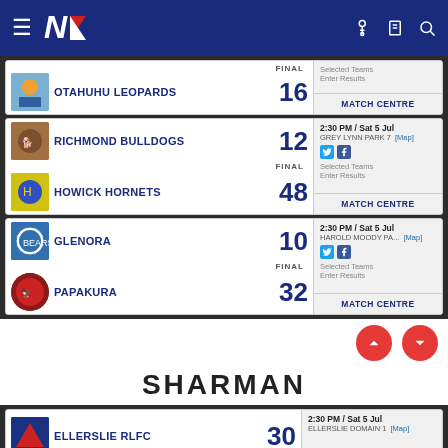NZ Rugby League navigation bar
| Team | Score | Details |
| --- | --- | --- |
| OTAHUHU LEOPARDS | 16 | FINAL / MATCH CENTRE |
| RICHMOND BULLDOGS | 12 | 2:30 PM / Sat 5 Jul, GREY LYNN PARK 7, FINAL, MATCH CENTRE |
| HOWICK HORNETS | 48 |  |
| GLENORA | 10 | 2:30 PM / Sat 5 Jul, HAROLD MOODY PA..., FINAL, MATCH CENTRE |
| PAPAKURA | 32 |  |
| ELLERSLIE RLFC | 30 | 2:30 PM / Sat 5 Jul, ELLERSLIE DOMAIN 1 |
SHARMAN